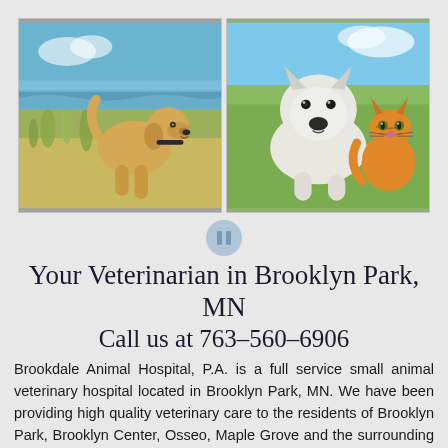[Figure (photo): Two photos side by side: left photo shows a golden Labrador puppy running on a beach with ocean in background; right photo shows a white West Highland Terrier dog lying next to an orange tabby kitten on grass.]
Your Veterinarian in Brooklyn Park, MN
Call us at 763-560-6906
Brookdale Animal Hospital, P.A. is a full service small animal veterinary hospital located in Brooklyn Park, MN. We have been providing high quality veterinary care to the residents of Brooklyn Park, Brooklyn Center, Osseo, Maple Grove and the surrounding twin cities area for over 25 years. We know the important roles that our pet companions serve in our daily lives and why we strive to continue to offer the latest in veterinary